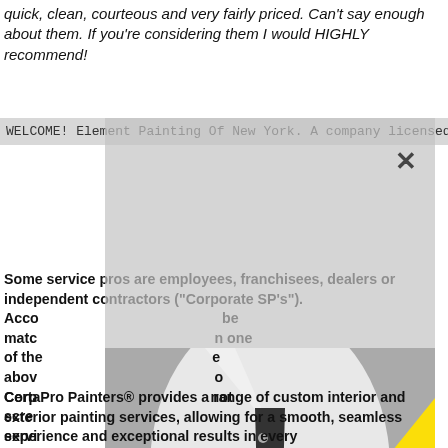quick, clean, courteous and very fairly priced. Can't say enough about them. If you're considering them I would HIGHLY recommend!
WELCOME! Element Painting Of New York. A company licensed
[Figure (photo): Black and white photo of a man in a white suit with a black polka-dot tie and pocket square, overlaid with a large yellow triangle shape. A gray overlay with a close (X) button appears on top.]
Some service pros are employees, franchisees, dealers or independent contractors ("Corporate SP's"). Acco... be matc... one of the... e abov... o Corp... not scree... servi...
CertaPro Painters® provides a range of custom interior and exterior painting services, allowing for a smooth, seamless experience and exceptional results in every h... Wh th l i t t f